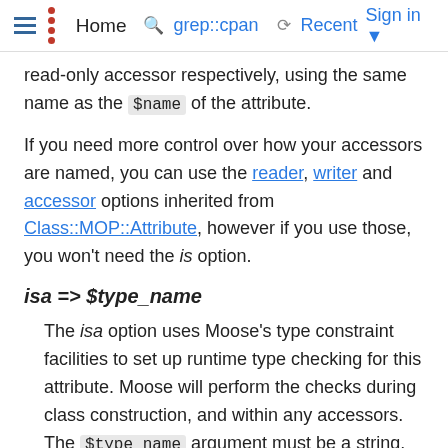Home  grep::cpan  Recent  Sign in
read-only accessor respectively, using the same name as the $name of the attribute.
If you need more control over how your accessors are named, you can use the reader, writer and accessor options inherited from Class::MOP::Attribute, however if you use those, you won't need the is option.
isa => $type_name
The isa option uses Moose's type constraint facilities to set up runtime type checking for this attribute. Moose will perform the checks during class construction, and within any accessors. The $type_name argument must be a string. The string may be either a class...